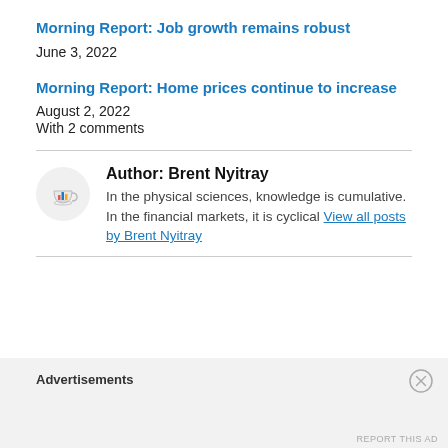Morning Report: Job growth remains robust
June 3, 2022
Morning Report: Home prices continue to increase
August 2, 2022
With 2 comments
Author: Brent Nyitray
In the physical sciences, knowledge is cumulative. In the financial markets, it is cyclical View all posts by Brent Nyitray
Advertisements
REPORT THIS AD